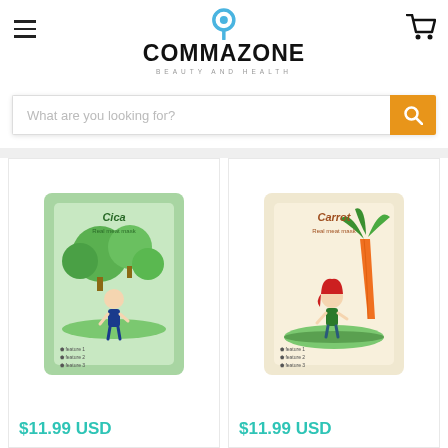[Figure (logo): CommaZone Beauty and Health logo with map pin icon above the text]
What are you looking for?
[Figure (photo): Cica Real meat mask product packaging - green themed with illustrated girl and trees]
$11.99 USD
[Figure (photo): Carrot Real meat mask product packaging - beige/cream themed with illustrated girl and carrot]
$11.99 USD